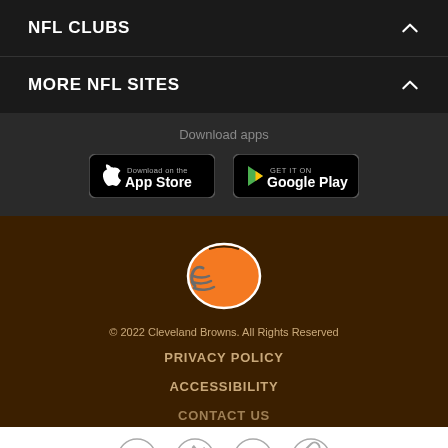NFL CLUBS
MORE NFL SITES
Download apps
[Figure (logo): Download on the App Store button]
[Figure (logo): Get it on Google Play button]
[Figure (logo): Cleveland Browns helmet logo]
© 2022 Cleveland Browns. All Rights Reserved
PRIVACY POLICY
ACCESSIBILITY
CONTACT US
[Figure (illustration): Social media icons: Facebook, Twitter, Email, Link]